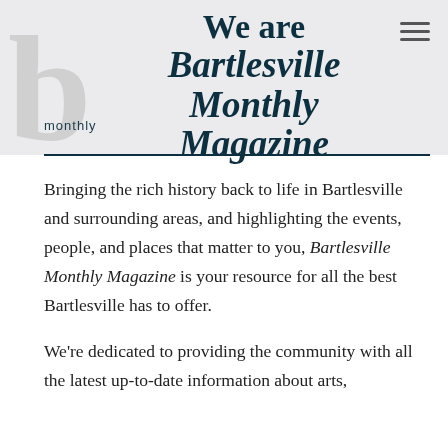We are Bartlesville Monthly Magazine
Bringing the rich history back to life in Bartlesville and surrounding areas, and highlighting the events, people, and places that matter to you, Bartlesville Monthly Magazine is your resource for all the best Bartlesville has to offer.
We're dedicated to providing the community with all the latest up-to-date information about arts,